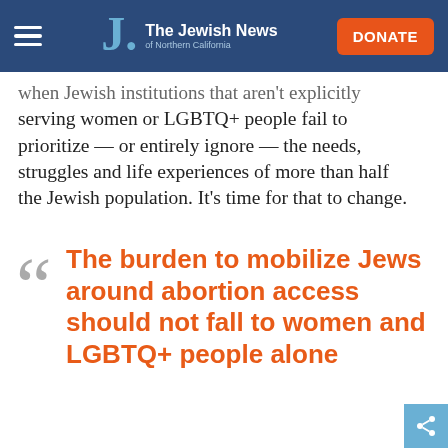The Jewish News of Northern California
when Jewish institutions that aren't explicitly serving women or LGBTQ+ people fail to prioritize — or entirely ignore — the needs, struggles and life experiences of more than half the Jewish population. It's time for that to change.
The burden to mobilize Jews around abortion access should not fall to women and LGBTQ+ people alone